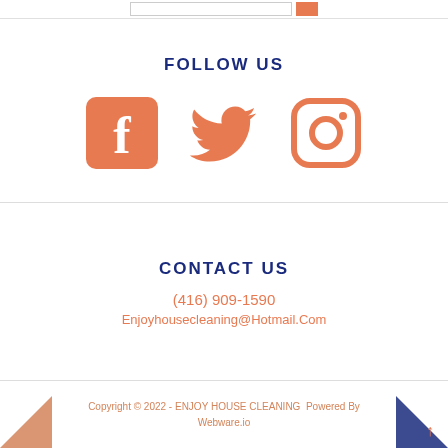[Figure (screenshot): Search input box with orange search button]
FOLLOW US
[Figure (infographic): Three social media icons: Facebook (f), Twitter (bird), Instagram (camera) in salmon/orange color]
CONTACT US
(416) 909-1590
Enjoyhousecleaning@Hotmail.Com
Copyright © 2022 - ENJOY HOUSE CLEANING  Powered By Webware.io